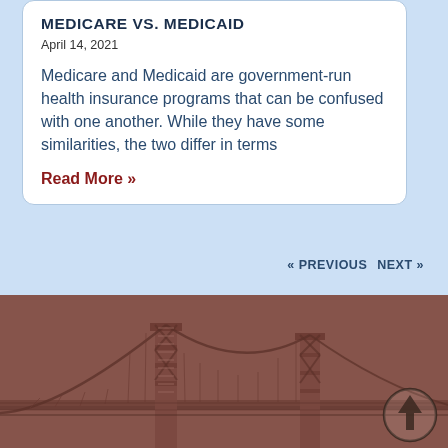MEDICARE VS. MEDICAID
April 14, 2021
Medicare and Medicaid are government-run health insurance programs that can be confused with one another. While they have some similarities, the two differ in terms
Read More »
« PREVIOUS   NEXT »
[Figure (photo): A reddish-brown toned photograph of a suspension bridge (appears to be Benjamin Franklin Bridge or similar), viewed from below at an angle, with bridge towers and cables visible. The image has a warm brownish-red overlay.]